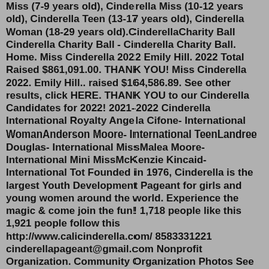Miss (7-9 years old), Cinderella Miss (10-12 years old), Cinderella Teen (13-17 years old), Cinderella Woman (18-29 years old).CinderellaCharity Ball Cinderella Charity Ball - Cinderella Charity Ball. Home. Miss Cinderella 2022 Emily Hill. 2022 Total Raised $861,091.00. THANK YOU! Miss Cinderella 2022. Emily Hill.. raised $164,586.89. See other results, click HERE. THANK YOU to our Cinderella Candidates for 2022! 2021-2022 Cinderella International Royalty Angela Cifone- International WomanAnderson Moore- International TeenLandree Douglas- International MissMalea Moore- International Mini MissMcKenzie Kincaid- International Tot Founded in 1976, Cinderella is the largest Youth Development Pageant for girls and young women around the world. Experience the magic & come join the fun! 1,718 people like this 1,921 people follow this http://www.calicinderella.com/ 8583331221 cinderellapageant@gmail.com Nonprofit Organization. Community Organization Photos See